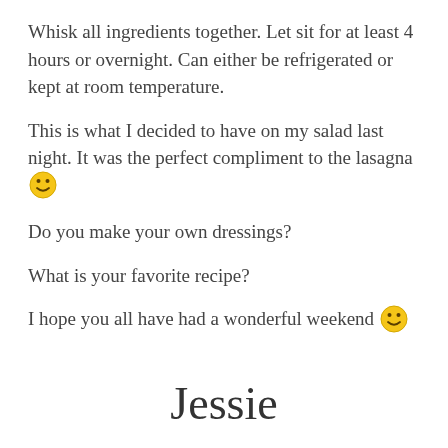Whisk all ingredients together. Let sit for at least 4 hours or overnight. Can either be refrigerated or kept at room temperature.
This is what I decided to have on my salad last night. It was the perfect compliment to the lasagna 😊
Do you make your own dressings?
What is your favorite recipe?
I hope you all have had a wonderful weekend 😊
Jessie